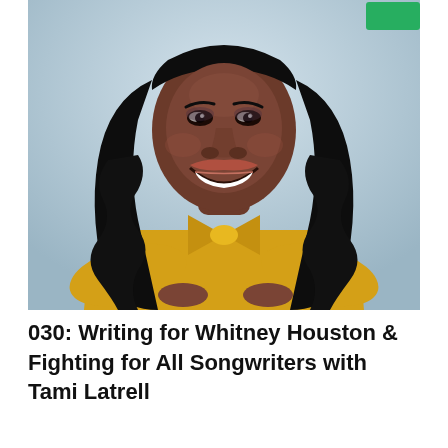[Figure (photo): Professional headshot of Tami Latrell, a Black woman with long wavy black hair, wearing a yellow blouse with a bow tie at the neckline, arms crossed, smiling broadly, against a light blue-grey background. A green badge/button is visible in the upper right corner of the image.]
030: Writing for Whitney Houston & Fighting for All Songwriters with Tami Latrell